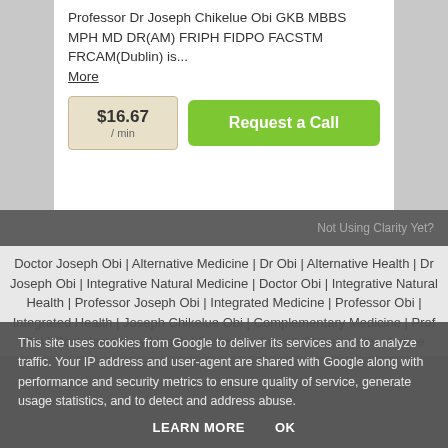Professor Dr Joseph Chikelue Obi GKB MBBS MPH MD DR(AM) FRIPH FIDPO FACSTM FRCAM(Dublin) is... More
$16.67 / min  Request a Call
Not Using Clarity Yet?
Doctor Joseph Obi | Alternative Medicine | Dr Obi | Alternative Health | Dr Joseph Obi | Integrative Natural Medicine | Doctor Obi | Integrative Natural Health | Professor Joseph Obi | Integrated Medicine | Professor Obi | Integrated Health | Joseph Chikelue Obi | Complementary Medicine | Prof Obi | Complementary Health | Professor Joseph Chikelue Obi | Native Traditional Medicine |
This site uses cookies from Google to deliver its services and to analyze traffic. Your IP address and user-agent are shared with Google along with performance and security metrics to ensure quality of service, generate usage statistics, and to detect and address abuse.
LEARN MORE  OK